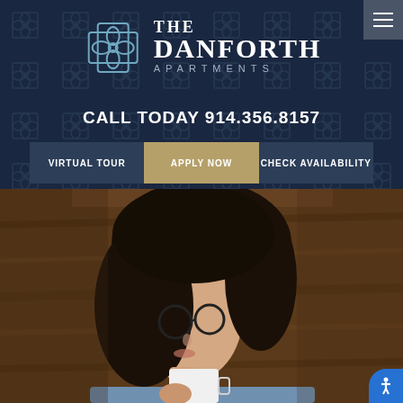[Figure (logo): The Danforth Apartments logo with geometric cross/flower emblem in steel blue, and text reading THE DANFORTH APARTMENTS]
THE DANFORTH APARTMENTS
CALL TODAY 914.356.8157
VIRTUAL TOUR
APPLY NOW
CHECK AVAILABILITY
[Figure (photo): Young woman with dark hair and glasses holding a white coffee mug, seated against a wooden background]